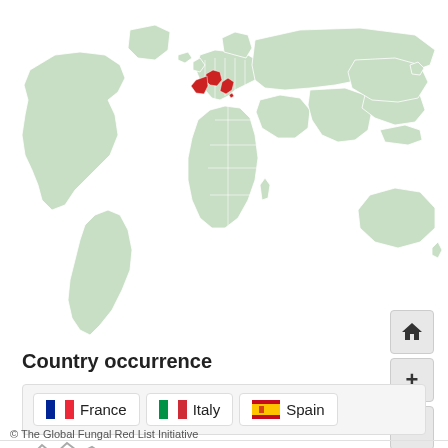[Figure (map): World map with green landmasses; France, Italy, and Spain highlighted in red in Western Europe. Map controls (home, +, -) on the right side.]
Country occurrence
| Country |
| --- |
| France |
| Italy |
| Spain |
© The Global Fungal Red List Initiative